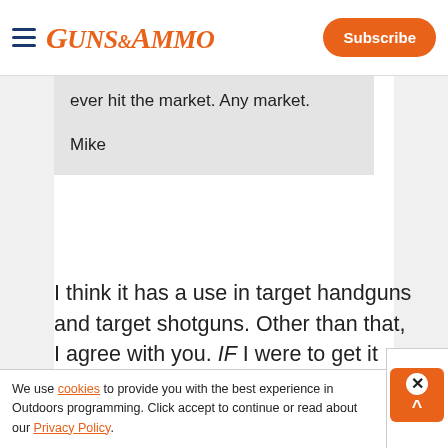GUNS&AMMO — Subscribe
ever hit the market. Any market.

Mike
I think it has a use in target handguns and target shotguns. Other than that, I agree with you. IF I were to get it done, I would only let one place do the work... it! If someone else did the work, I would not trust it at
We use cookies to provide you with the best experience in Outdoors programming. Click accept to continue or read about our Privacy Policy.